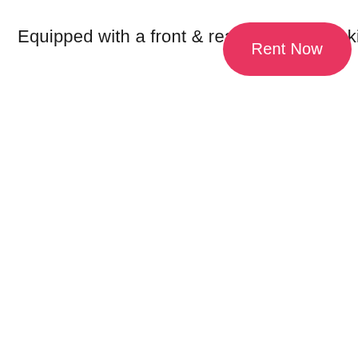Equipped with a front & rear dual disk braking system.
Rent Now